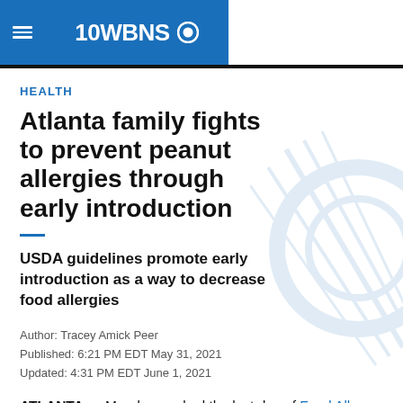10WBNS CBS
HEALTH
Atlanta family fights to prevent peanut allergies through early introduction
USDA guidelines promote early introduction as a way to decrease food allergies
Author: Tracey Amick Peer
Published: 6:21 PM EDT May 31, 2021
Updated: 4:31 PM EDT June 1, 2021
ATLANTA — Monday marked the last day of Food Allergy Awareness Month. Right now, around 32 million Americans